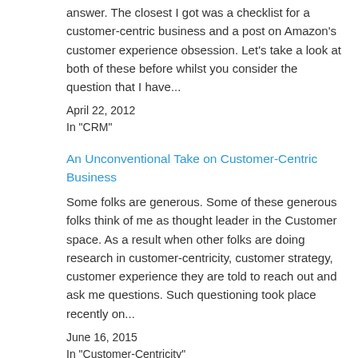answer.  The closest I got was a checklist for a customer-centric business and a post on Amazon's customer experience obsession.  Let's take a look at both of these before whilst you consider the question that I have...
April 22, 2012
In "CRM"
An Unconventional Take on Customer-Centric Business
Some folks are generous. Some of these generous folks think of me as thought leader in the Customer space. As a result when other folks are doing research in customer-centricity, customer strategy, customer experience they are told to reach out and ask me questions.  Such questioning took place recently on...
June 16, 2015
In "Customer-Centricity"
Is this the most serious misunderstanding plaguing customer-centricity?